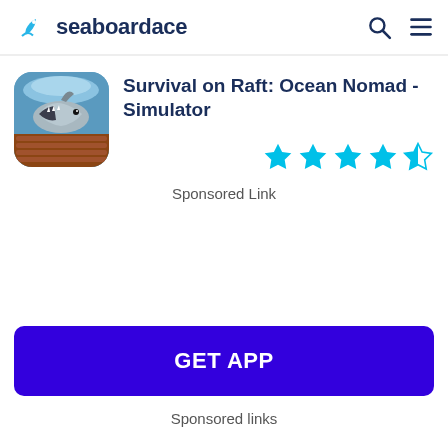seaboardace
Survival on Raft: Ocean Nomad - Simulator
[Figure (illustration): App icon showing a shark on a wooden raft with ocean background]
[Figure (other): Star rating: 4 and a half stars out of 5, in cyan/teal color]
Sponsored Link
[Figure (other): GET APP button in dark blue/indigo color]
Sponsored links